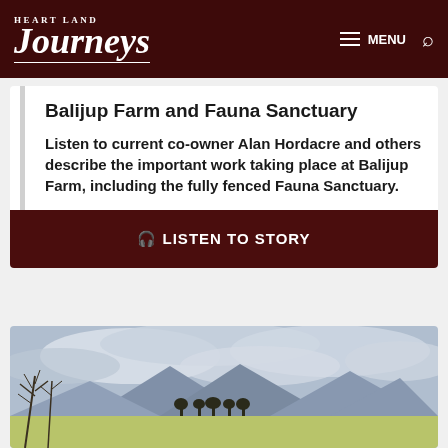Heart Land Journeys — MENU
Balijup Farm and Fauna Sanctuary
Listen to current co-owner Alan Hordacre and others describe the important work taking place at Balijup Farm, including the fully fenced Fauna Sanctuary.
🎧 LISTEN TO STORY
[Figure (photo): Landscape photo showing a flat green paddock in the foreground with bare trees on the left, scattered trees in the middle distance, and rolling mountains under a cloudy grey-blue sky in the background.]